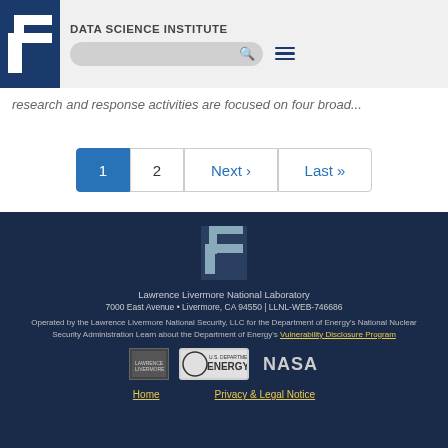[Figure (logo): Lawrence Livermore National Laboratory logo (white L shape on blue) in header]
DATA SCIENCE INSTITUTE
research and response activities are focused on four broad...
1  2  Next ›  Last »
[Figure (logo): Lawrence Livermore National Laboratory footer logo (white/gray L shape)]
Lawrence Livermore National Laboratory
7000 East Avenue • Livermore, CA 94550 | LLNL-WEB-746686
Operated by the Lawrence Livermore National Security, LLC for the Department of Energy's National Nuclear Security Administration Learn about the Department of Energy's Vulnerability Disclosure Program
[Figure (logo): Three logos in footer: Lawrence Livermore National Security, U.S. Department of Energy, NASA]
Home  Privacy & Legal Notice